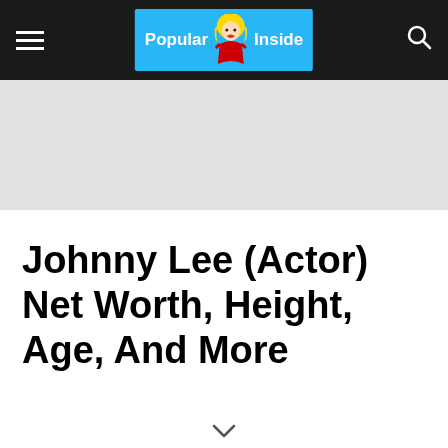Popular Inside
[Figure (other): Gray advertisement banner placeholder area]
Johnny Lee (Actor) Net Worth, Height, Age, And More